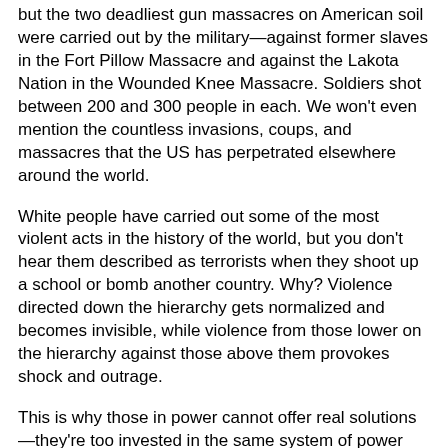but the two deadliest gun massacres on American soil were carried out by the military—against former slaves in the Fort Pillow Massacre and against the Lakota Nation in the Wounded Knee Massacre. Soldiers shot between 200 and 300 people in each. We won't even mention the countless invasions, coups, and massacres that the US has perpetrated elsewhere around the world.
White people have carried out some of the most violent acts in the history of the world, but you don't hear them described as terrorists when they shoot up a school or bomb another country. Why? Violence directed down the hierarchy gets normalized and becomes invisible, while violence from those lower on the hierarchy against those above them provokes shock and outrage.
This is why those in power cannot offer real solutions—they're too invested in the same system of power that causes mass shootings.
cdn.crimethinc.com/assets/articles/2018/03/20/2.jpg
Breaking the Norms
What's different this time is that instead of waiting for